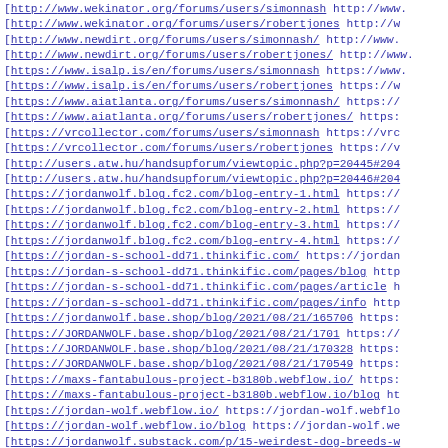[http://www.wekinator.org/forums/users/simonnash http://www.
[http://www.wekinator.org/forums/users/robertjones http://w
[http://www.newdirt.org/forums/users/simonnash/ http://www.
[http://www.newdirt.org/forums/users/robertjones/ http://www.
[https://www.isalp.is/en/forums/users/simonnash https://www.
[https://www.isalp.is/en/forums/users/robertjones https://w
[https://www.aiatlanta.org/forums/users/simonnash/ https://
[https://www.aiatlanta.org/forums/users/robertjones/ https:
[https://vrcollector.com/forums/users/simonnash https://vrc
[https://vrcollector.com/forums/users/robertjones https://v
[http://users.atw.hu/handsupforum/viewtopic.php?p=20445#204
[http://users.atw.hu/handsupforum/viewtopic.php?p=20446#204
[https://jordanwolf.blog.fc2.com/blog-entry-1.html https://
[https://jordanwolf.blog.fc2.com/blog-entry-2.html https://
[https://jordanwolf.blog.fc2.com/blog-entry-3.html https://
[https://jordanwolf.blog.fc2.com/blog-entry-4.html https://
[https://jordan-s-school-dd71.thinkific.com/ https://jordan
[https://jordan-s-school-dd71.thinkific.com/pages/blog http
[https://jordan-s-school-dd71.thinkific.com/pages/article h
[https://jordan-s-school-dd71.thinkific.com/pages/info http
[https://jordanwolf.base.shop/blog/2021/08/21/165706 https:
[https://JORDANWOLF.base.shop/blog/2021/08/21/1701 https://
[https://JORDANWOLF.base.shop/blog/2021/08/21/170328 https:
[https://JORDANWOLF.base.shop/blog/2021/08/21/170549 https:
[https://maxs-fantabulous-project-b3180b.webflow.io/ https:
[https://maxs-fantabulous-project-b3180b.webflow.io/blog ht
[https://jordan-wolf.webflow.io/ https://jordan-wolf.webflo
[https://jordan-wolf.webflow.io/blog https://jordan-wolf.we
[https://jordanwolf.substack.com/p/15-weirdest-dog-breeds-w
[https://jordanwolf.substack.com/p/...